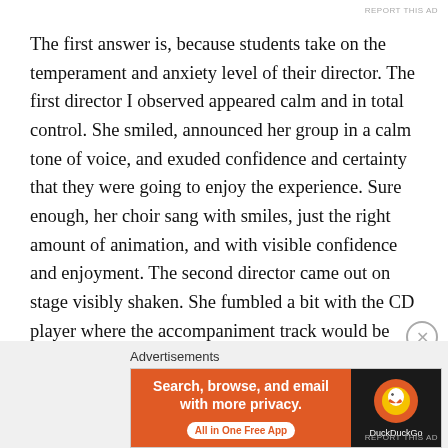REPORT THIS AD
The first answer is, because students take on the temperament and anxiety level of their director. The first director I observed appeared calm and in total control. She smiled, announced her group in a calm tone of voice, and exuded confidence and certainty that they were going to enjoy the experience. Sure enough, her choir sang with smiles, just the right amount of animation, and with visible confidence and enjoyment. The second director came out on stage visibly shaken. She fumbled a bit with the CD player where the accompaniment track would be played, and then announced, “I’m as nervous as the students.” There it is. Having made this announcement, the students
[Figure (infographic): DuckDuckGo advertisement banner: orange left section with text 'Search, browse, and email with more privacy. All in One Free App' and dark right section with DuckDuckGo logo]
REPORT THIS AD